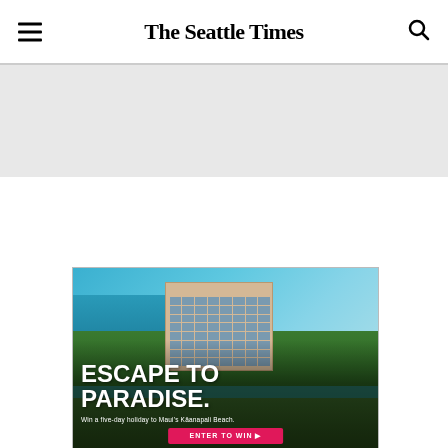The Seattle Times
[Figure (photo): Aerial view of a beachside hotel resort in Maui, Hawaii, with turquoise ocean, palm trees, and green vegetation. Overlay text reads 'ESCAPE TO PARADISE. Win a five-day holiday to Maui's Kāanapali Beach.' with an 'ENTER TO WIN' button.]